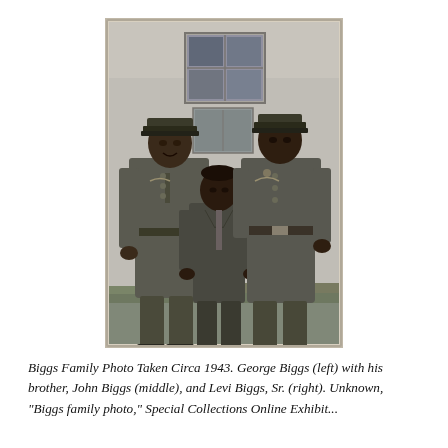[Figure (photo): Black and white photograph of three men standing together outside a white building. Two men on the left and right are wearing military uniforms with military caps. The man in the middle is shorter and wearing a suit. Circa 1943.]
Biggs Family Photo Taken Circa 1943. George Biggs (left) with his brother, John Biggs (middle), and Levi Biggs, Sr. (right). Unknown, "Biggs family photo," Special Collections Online Exhibit...